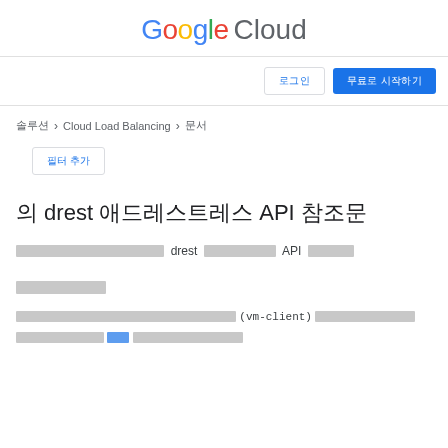[Figure (logo): Google Cloud logo with multicolor Google text and gray Cloud text]
[nav buttons: 로그인 | 무료로 시작하기]
솔루션 > Cloud Load Balancing > 문서
[필터 추가] button
의 drest 애드레스트레스 API 참조문
[redacted] drest [redacted] API [redacted]
[redacted section header]
[redacted text] (vm-client) [redacted text with link]